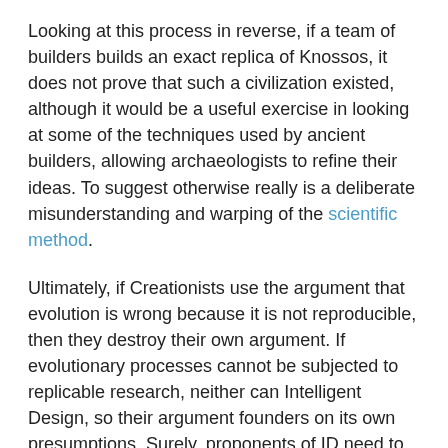Looking at this process in reverse, if a team of builders builds an exact replica of Knossos, it does not prove that such a civilization existed, although it would be a useful exercise in looking at some of the techniques used by ancient builders, allowing archaeologists to refine their ideas. To suggest otherwise really is a deliberate misunderstanding and warping of the scientific method.
Ultimately, if Creationists use the argument that evolution is wrong because it is not reproducible, then they destroy their own argument. If evolutionary processes cannot be subjected to replicable research, neither can Intelligent Design, so their argument founders on its own presumptions. Surely, proponents of ID need to recreate the six days of Genesis before their ideas can be accepted by science!
Bibliography